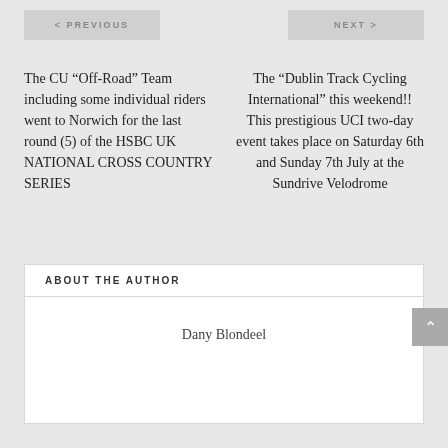< PREVIOUS
NEXT >
The CU “Off-Road” Team including some individual riders went to Norwich for the last round (5) of the HSBC UK NATIONAL CROSS COUNTRY SERIES
The “Dublin Track Cycling International” this weekend!! This prestigious UCI two-day event takes place on Saturday 6th and Sunday 7th July at the Sundrive Velodrome
ABOUT THE AUTHOR
Dany Blondeel